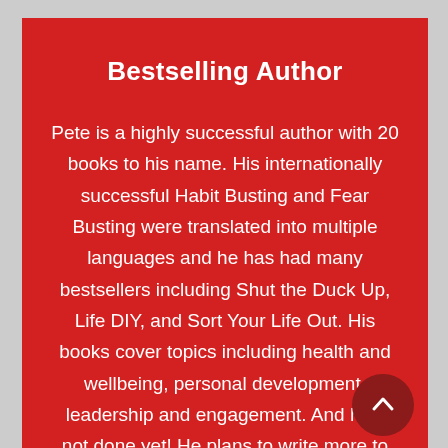Bestselling Author
Pete is a highly successful author with 20 books to his name. His internationally successful Habit Busting and Fear Busting were translated into multiple languages and he has had many bestsellers including Shut the Duck Up, Life DIY, and Sort Your Life Out. His books cover topics including health and wellbeing, personal development, leadership and engagement. And he's not done yet! He plans to write more to help people be the